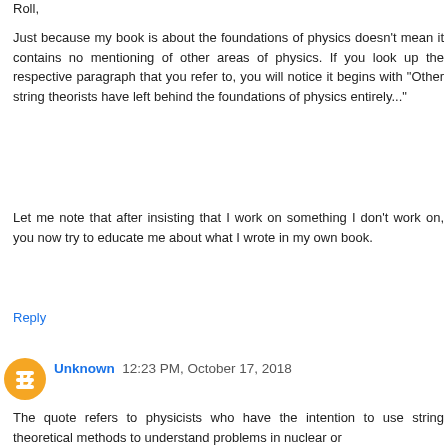Roll,
Just because my book is about the foundations of physics doesn't mean it contains no mentioning of other areas of physics. If you look up the respective paragraph that you refer to, you will notice it begins with "Other string theorists have left behind the foundations of physics entirely..."
Let me note that after insisting that I work on something I don't work on, you now try to educate me about what I wrote in my own book.
Reply
Unknown  12:23 PM, October 17, 2018
The quote refers to physicists who have the intention to use string theoretical methods to understand problems in nuclear or solid-state physics as their primary goal. But you tell us in the post that your primary goal is to eventually "experimentally test the validity of the gauge-gravity